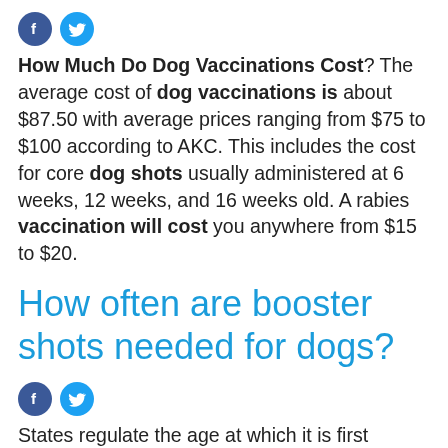[Figure (other): Social media share icons: Facebook (blue circle with f) and Twitter (cyan circle with bird)]
How Much Do Dog Vaccinations Cost? The average cost of dog vaccinations is about $87.50 with average prices ranging from $75 to $100 according to AKC. This includes the cost for core dog shots usually administered at 6 weeks, 12 weeks, and 16 weeks old. A rabies vaccination will cost you anywhere from $15 to $20.
How often are booster shots needed for dogs?
[Figure (other): Social media share icons: Facebook (blue circle with f) and Twitter (cyan circle with bird)]
States regulate the age at which it is first administered. A second vaccination is recommended after 1 year, then boosters every 3